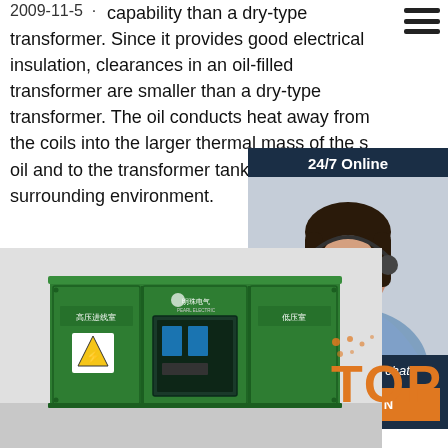2009-11-5
capability than a dry-type transformer. Since it provides good electrical insulation, clearances in an oil-filled transformer are smaller than a dry-type transformer. The oil conducts heat away from the coils into the larger thermal mass of the surrounding oil and to the transformer tank to be dissipated to the surrounding environment.
[Figure (photo): Customer service representative wearing headset, 24/7 Online chat widget with QUOTATION button]
[Figure (photo): Green outdoor electrical cabinet/transformer box with Chinese text labels (高压进线室, 明珠电气, 低压室), shown in a warehouse or factory setting]
[Figure (logo): TOP watermark with orange dots pattern]